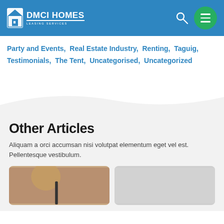DMCI HOMES - LEASING SERVICES
Party and Events,  Real Estate Industry,  Renting,  Taguig,  Testimonials,  The Tent,  Uncategorised,  Uncategorized
Other Articles
Aliquam a orci accumsan nisi volutpat elementum eget vel est. Pellentesque vestibulum.
[Figure (photo): Two article card thumbnails — left: a person painting or crafting with a dark object; right: a light gray placeholder image]
[Figure (logo): DMCI Homes Leasing Services logo with white house icon on blue background]